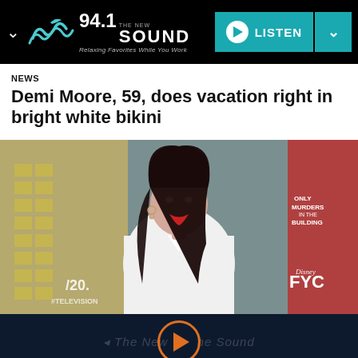[Figure (logo): 94.1 The New Sound radio station logo with wave graphic and tagline 'Relaxing Favorites While You Work']
NEWS
Demi Moore, 59, does vacation right in bright white bikini
[Figure (photo): Woman with long dark curly hair, red lipstick, wearing white clothing, at an event with 20th Television and Only Murders in the Building and Disney FYC signage behind her]
[Figure (other): Radio player bar with orange play button circle and dimmed text reading The New Sound]